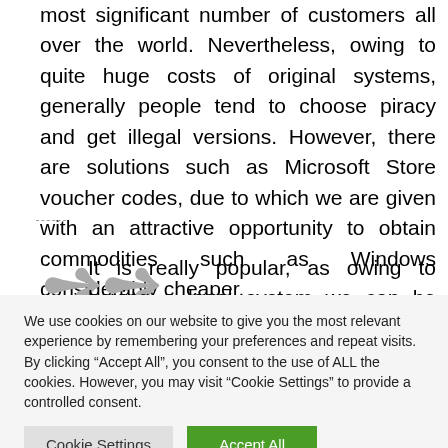most significant number of customers all over the world. Nevertheless, owing to quite huge costs of original systems, generally people tend to choose piracy and get illegal versions. However, there are solutions such as Microsoft Store voucher codes, due to which we are given with an attractive opportunity to obtain commodities such as Windows considerably cheaper.
It is really popular, as owing to having a legal system we can be ascertained that we will not risk that we will
We use cookies on our website to give you the most relevant experience by remembering your preferences and repeat visits. By clicking “Accept All”, you consent to the use of ALL the cookies. However, you may visit “Cookie Settings” to provide a controlled consent.